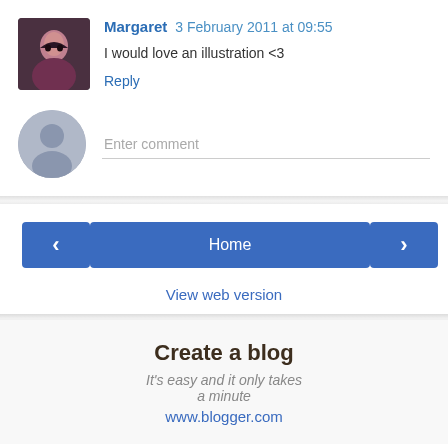[Figure (photo): Small avatar photo of Margaret, a woman with dark hair]
Margaret 3 February 2011 at 09:55
I would love an illustration <3
Reply
[Figure (illustration): Generic grey silhouette avatar icon for anonymous commenter]
Enter comment
Home
View web version
Create a blog
It's easy and it only takes a minute
www.blogger.com